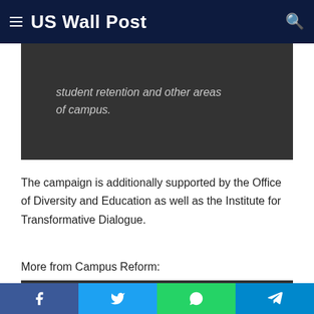US Wall Post
student retention and other areas of campus.
The campaign is additionally supported by the Office of Diversity and Education as well as the Institute for Transformative Dialogue.
More from Campus Reform:
[Figure (other): Opening quotation mark block at bottom of page]
Facebook | Twitter | WhatsApp | Telegram share buttons